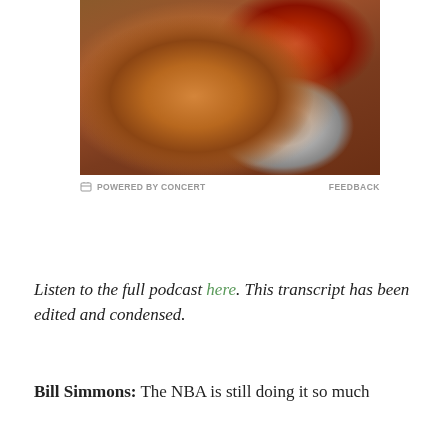[Figure (photo): Photo of Pizza Hut pizzas on a wooden table — a large cheese/topping pizza on a round wooden board, a pepperoni pizza in background, and a single slice on a plate. Pizza Hut box visible in background.]
POWERED BY CONCERT   FEEDBACK
Listen to the full podcast here. This transcript has been edited and condensed.
Bill Simmons: The NBA is still doing it so much